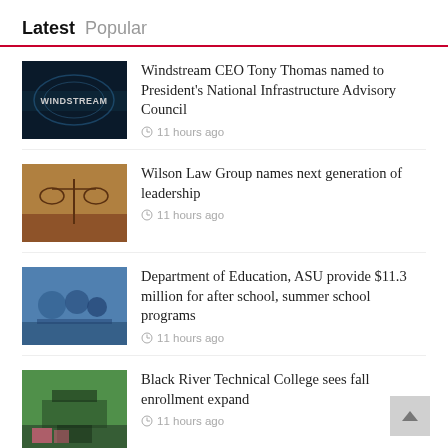Latest  Popular
Windstream CEO Tony Thomas named to President's National Infrastructure Advisory Council
11 hours ago
Wilson Law Group names next generation of leadership
11 hours ago
Department of Education, ASU provide $11.3 million for after school, summer school programs
11 hours ago
Black River Technical College sees fall enrollment expand
11 hours ago